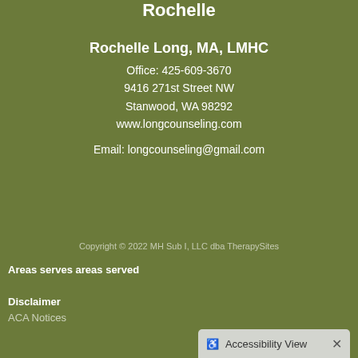Rochelle
Rochelle Long, MA, LMHC
Office: 425-609-3670
9416 271st Street NW
Stanwood, WA 98292
www.longcounseling.com
Email: longcounseling@gmail.com
Copyright © 2022 MH Sub I, LLC dba TherapySites
Areas serves areas served
Disclaimer
ACA Notices